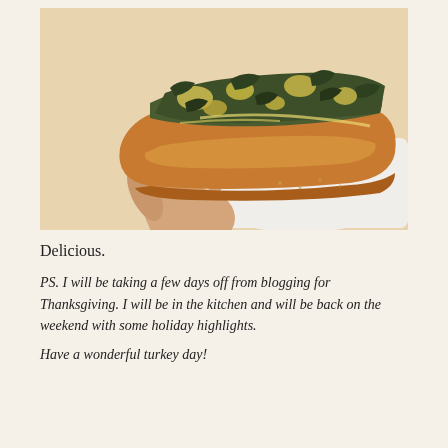[Figure (photo): A hand holding a piece of toasted bread topped with spinach artichoke dip, over a white baking dish in the background.]
Delicious.
PS. I will be taking a few days off from blogging for Thanksgiving. I will be in the kitchen and will be back on the weekend with some holiday highlights.
Have a wonderful turkey day!